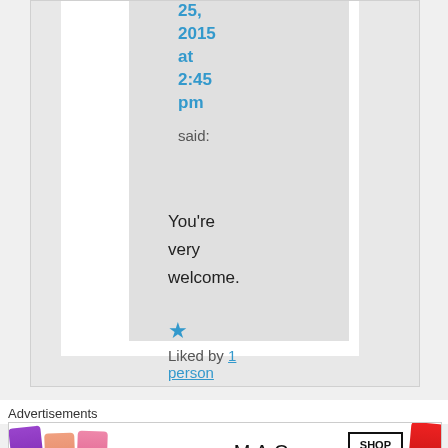25, 2015 at 2:45 pm said:
You're very welcome.
★ Liked by 1 person
Advertisements
[Figure (photo): MAC cosmetics advertisement showing lipsticks in purple, peach, pink, and red colors with MAC logo and SHOP NOW button]